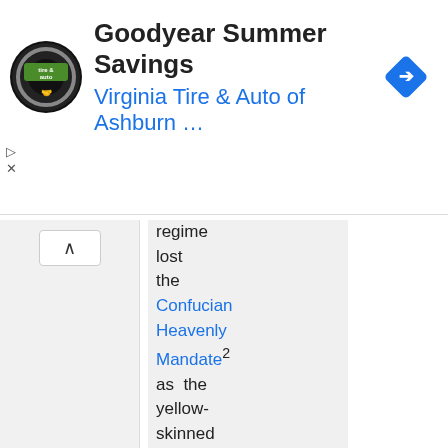[Figure (screenshot): Advertisement banner: circular Virginia Tire & Auto logo on left, text 'Goodyear Summer Savings' in bold and 'Virginia Tire & Auto of Ashburn ...' in blue below, blue diamond navigation icon on right. Small play and X controls on far left.]
regime lost the Confucian Heavenly Mandate² as the yellow-skinned Japanese overthrew them, and they were thouroughly discredited in the eyes of the population. Although the Japanese control might